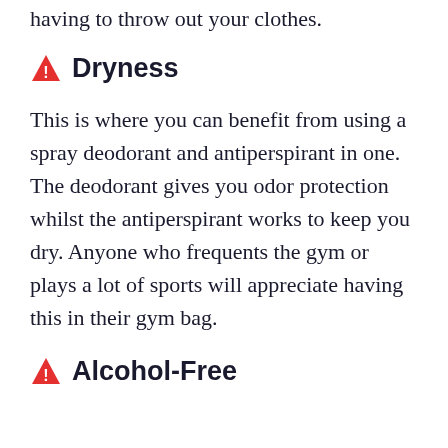having to throw out your clothes.
⚠ Dryness
This is where you can benefit from using a spray deodorant and antiperspirant in one. The deodorant gives you odor protection whilst the antiperspirant works to keep you dry. Anyone who frequents the gym or plays a lot of sports will appreciate having this in their gym bag.
⚠ Alcohol-Free